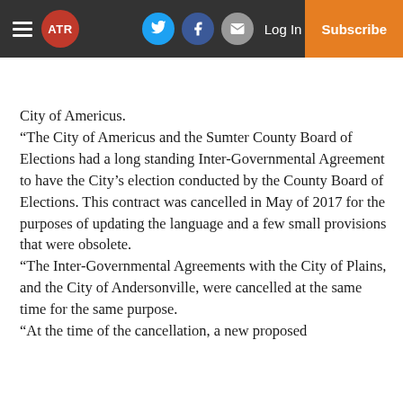ATR — Log In | Subscribe
City of Americus. “The City of Americus and the Sumter County Board of Elections had a long standing Inter-Governmental Agreement to have the City’s election conducted by the County Board of Elections. This contract was cancelled in May of 2017 for the purposes of updating the language and a few small provisions that were obsolete. “The Inter-Governmental Agreements with the City of Plains, and the City of Andersonville, were cancelled at the same time for the same purpose. “At the time of the cancellation, a new proposed